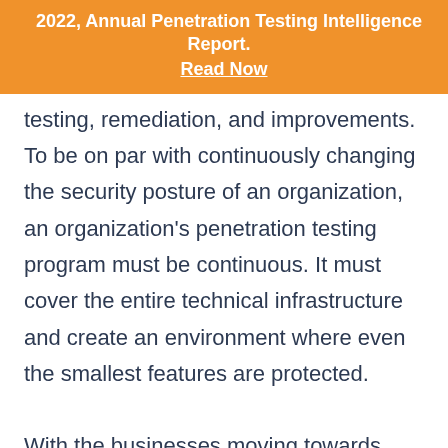2022, Annual Penetration Testing Intelligence Report. Read Now
testing, remediation, and improvements. To be on par with continuously changing the security posture of an organization, an organization's penetration testing program must be continuous. It must cover the entire technical infrastructure and create an environment where even the smallest features are protected.
With the businesses moving towards PTaaS, the service providers have started to bundle their services in such a way that they meet